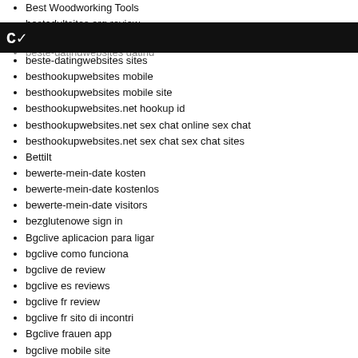Best Woodworking Tools
bestadultsites.org review
beste-datingwebsites dating
beste-datingwebsites sites
besthookupwebsites mobile
besthookupwebsites mobile site
besthookupwebsites.net hookup id
besthookupwebsites.net sex chat online sex chat
besthookupwebsites.net sex chat sex chat sites
Bettilt
bewerte-mein-date kosten
bewerte-mein-date kostenlos
bewerte-mein-date visitors
bezglutenowe sign in
Bgclive aplicacion para ligar
bgclive como funciona
bgclive de review
bgclive es reviews
bgclive fr review
bgclive fr sito di incontri
Bgclive frauen app
bgclive mobile site
bgclive sitio de citas
BGCLive visitors